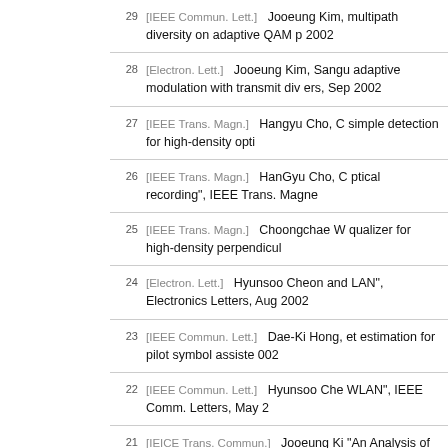29 [IEEE Commun. Lett.] Jooeung Kim, multipath diversity on adaptive QAM p 2002
28 [Electron. Lett.] Jooeung Kim, Sangu adaptive modulation with transmit div ers, Sep 2002
27 [IEEE Trans. Magn.] Hangyu Cho, C simple detection for high-density opti
26 [IEEE Trans. Magn.] HanGyu Cho, C ptical recording", IEEE Trans. Magne
25 [IEEE Trans. Magn.] Choongchae W qualizer for high-density perpendicul
24 [Electron. Lett.] Hyunsoo Cheon and LAN", Electronics Letters, Aug 2002
23 [IEEE Commun. Lett.] Dae-Ki Hong, et estimation for pilot symbol assiste 002
22 [IEEE Commun. Lett.] Hyunsoo Che WLAN", IEEE Comm. Letters, May 2
21 [IEICE Trans. Commun.] Jooeung Ki "An Analysis of Forward Link Power 2002